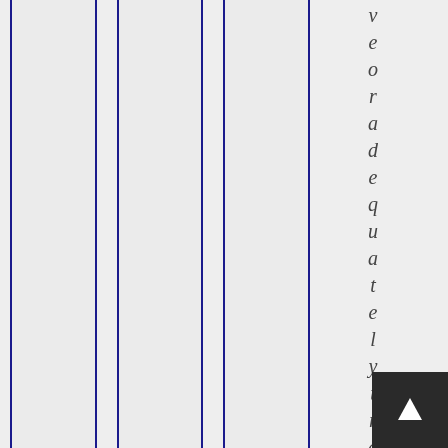[Figure (other): Three vertical columns with dark navy blue left and right borders on a light gray background, appearing to be part of a table or structured layout element.]
v e o r a d e q u a t e l y t r a i n e d t o
[Figure (other): Dark navigation button with a white arrow/cursor icon pointing up-right, positioned in the bottom-right corner.]